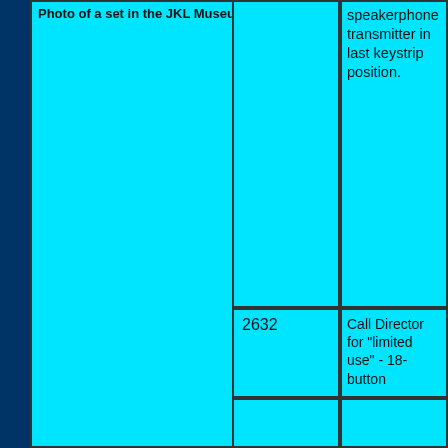Photo of a set in the JKL Museum
[Figure (photo): Large cyan cell representing a photo of a set in the JKL Museum]
speakerphone transmitter in last keystrip position.
2632
Call Director for "limited use" - 18-button